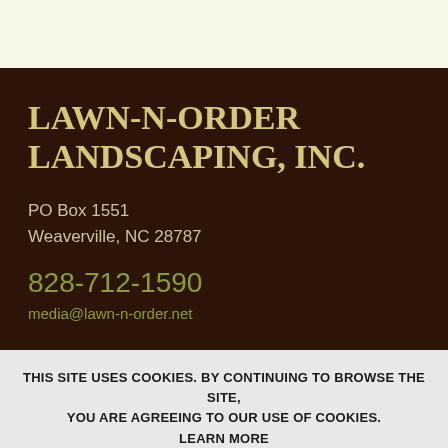LAWN-N-ORDER LANDSCAPING, INC.
PO Box 1551
Weaverville, NC 28787
828-712-1590
media@lawn-n-order.net
THIS SITE USES COOKIES. BY CONTINUING TO BROWSE THE SITE, YOU ARE AGREEING TO OUR USE OF COOKIES. LEARN MORE
OK